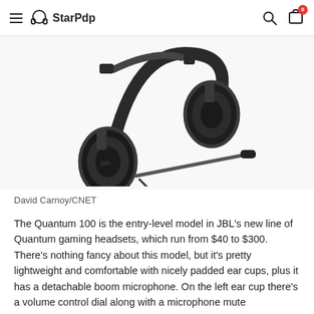≡ StarPdp [search icon] [cart icon with badge 0]
[Figure (photo): JBL Quantum 100 gaming headset, black, shown at an angle with detachable boom microphone extended to the right, on a white/light grey background.]
David Carnoy/CNET
The Quantum 100 is the entry-level model in JBL's new line of Quantum gaming headsets, which run from $40 to $300. There's nothing fancy about this model, but it's pretty lightweight and comfortable with nicely padded ear cups, plus it has a detachable boom microphone. On the left ear cup there's a volume control dial along with a microphone mute